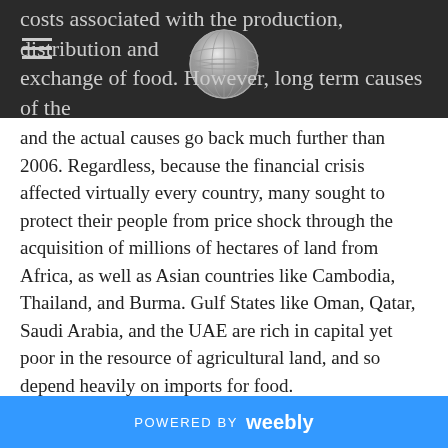costs associated with the production, distribution and exchange of food. However, long term causes of the 2007-2008 price increases are subject to much debate,
and the actual causes go back much further than 2006. Regardless, because the financial crisis affected virtually every country, many sought to protect their people from price shock through the acquisition of millions of hectares of land from Africa, as well as Asian countries like Cambodia, Thailand, and Burma. Gulf States like Oman, Qatar, Saudi Arabia, and the UAE are rich in capital yet poor in the resource of agricultural land, and so depend heavily on imports for food.

Land grabs in developing countries began when governments sought to stimulate investment and capital injection in arable land. They wanted to stimulate growth in their countries, and the simplest way to do this
POWERED BY weebly